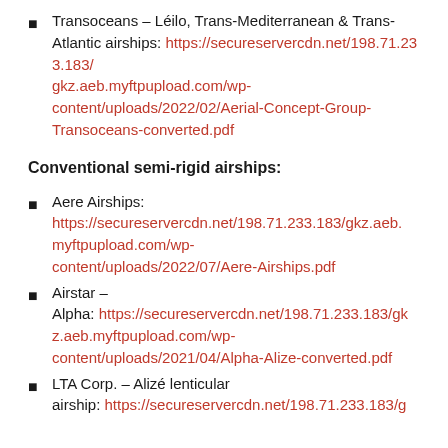Transoceans – Léilo, Trans-Mediterranean & Trans-Atlantic airships: https://secureservercdn.net/198.71.233.183/gkz.aeb.myftpupload.com/wp-content/uploads/2022/02/Aerial-Concept-Group-Transoceans-converted.pdf
Conventional semi-rigid airships:
Aere Airships: https://secureservercdn.net/198.71.233.183/gkz.aeb.myftpupload.com/wp-content/uploads/2022/07/Aere-Airships.pdf
Airstar – Alpha: https://secureservercdn.net/198.71.233.183/gkz.aeb.myftpupload.com/wp-content/uploads/2021/04/Alpha-Alize-converted.pdf
LTA Corp. – Alizé lenticular airship: https://secureservercdn.net/198.71.233.183/g